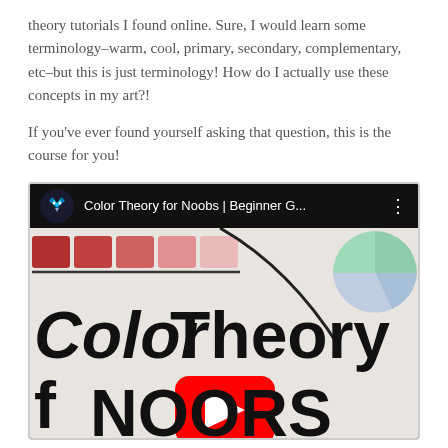theory tutorials I found online. Sure, I would learn some terminology–warm, cool, primary, secondary, complementary, etc–but this is just terminology! How do I actually use these concepts in my art?!
If you've ever found yourself asking that question, this is the course for you!
[Figure (screenshot): YouTube video embed showing 'Color Theory for Noobs | Beginner G...' with a blue wolf channel icon, video thumbnail showing hand-drawn text 'Color Theory for Noobs' with a YouTube play button overlay, color swatches on left, and a color wheel on right]